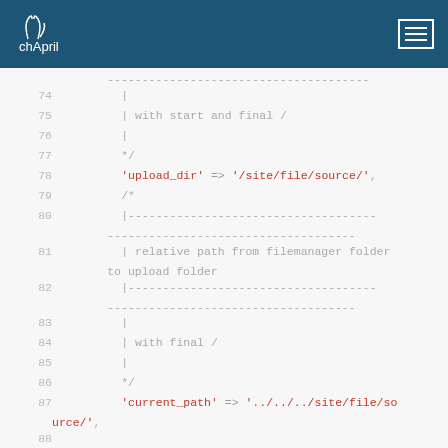[Figure (logo): chApril logo on dark blue navigation bar with hamburger menu icon]
Code listing lines 74–89 showing PHP configuration code with comments. Lines include upload_dir and current_path settings with dashed separator comments.